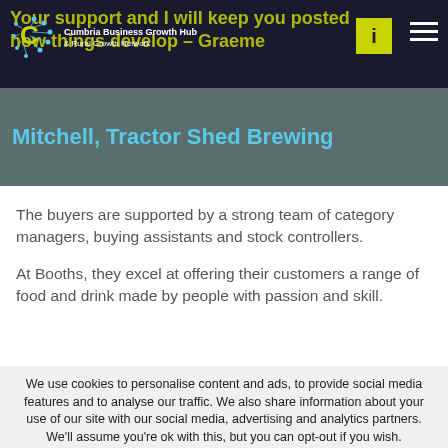Your support and I will keep you posted how things develop – Graeme Mitchell, Tractor Shed Brewing
Mitchell, Tractor Shed Brewing
The buyers are supported by a strong team of category managers, buying assistants and stock controllers.
At Booths, they excel at offering their customers a range of food and drink made by people with passion and skill.
We use cookies to personalise content and ads, to provide social media features and to analyse our traffic. We also share information about your use of our site with our social media, advertising and analytics partners. We'll assume you're ok with this, but you can opt-out if you wish.